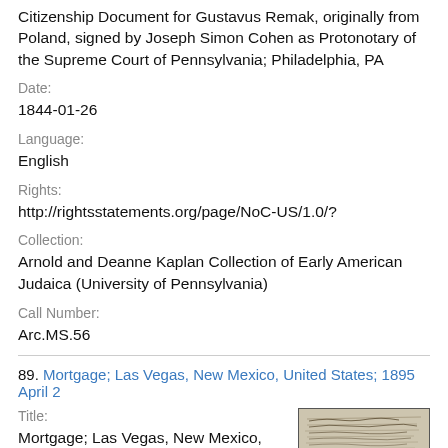Citizenship Document for Gustavus Remak, originally from Poland, signed by Joseph Simon Cohen as Protonotary of the Supreme Court of Pennsylvania; Philadelphia, PA
Date:
1844-01-26
Language:
English
Rights:
http://rightsstatements.org/page/NoC-US/1.0/?
Collection:
Arnold and Deanne Kaplan Collection of Early American Judaica (University of Pennsylvania)
Call Number:
Arc.MS.56
89. Mortgage; Las Vegas, New Mexico, United States; 1895 April 2
Title:
Mortgage; Las Vegas, New Mexico, United States; 1895 April 2
[Figure (photo): Thumbnail image of a historical handwritten document — a mortgage from Las Vegas, New Mexico, 1895]